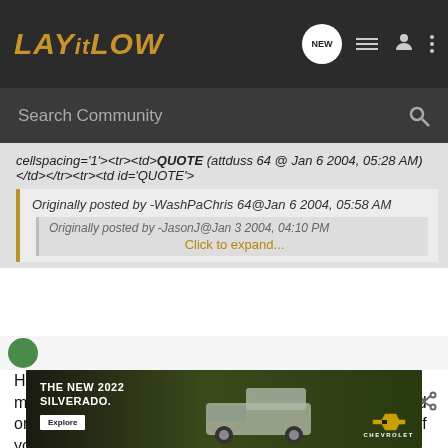LAY IT LOW — Search Community — Navigation bar
cellspacing='1'><tr><td>QUOTE (attduss 64 @ Jan 6 2004, 05:28 AM)</td></tr><tr><td id='QUOTE'>
Originally posted by -WashPaChris 64@Jan 6 2004, 05:58 AM
Originally posted by -JasonJ@Jan 3 2004, 04:10 PM
Click to expand...
😉[/b][/quote]
Hey man, I've seen you do some smooth ass work so might as well ask you. Have you ever narrowed a rear end or got pics of narrowing one like your frame wrap man?? If you know anything let me know.
[Figure (screenshot): Chevrolet Silverado 2022 advertisement banner showing truck and Chevrolet logo with Explore button]